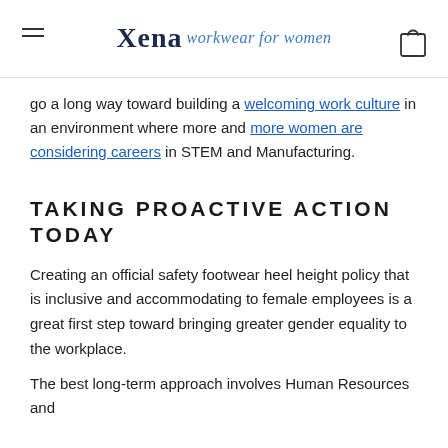Xena workwear for women
go a long way toward building a welcoming work culture in an environment where more and more women are considering careers in STEM and Manufacturing.
TAKING PROACTIVE ACTION TODAY
Creating an official safety footwear heel height policy that is inclusive and accommodating to female employees is a great first step toward bringing greater gender equality to the workplace.
The best long-term approach involves Human Resources and